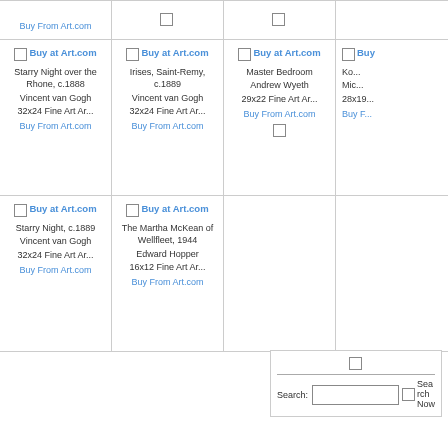| Buy at Art.com (partial) | Buy at Art.com (partial) | Buy at Art.com (partial) | Buy (partial) |
| Buy at Art.com
Starry Night over the Rhone, c.1888
Vincent van Gogh
32x24 Fine Art Ar...
Buy From Art.com | Buy at Art.com
Irises, Saint-Remy, c.1889
Vincent van Gogh
32x24 Fine Art Ar...
Buy From Art.com | Buy at Art.com
Master Bedroom
Andrew Wyeth
29x22 Fine Art Ar...
Buy From Art.com | Buy (partial)
Ko...
Mic...
28x19...
Buy F... |
| Buy at Art.com
Starry Night, c.1889
Vincent van Gogh
32x24 Fine Art Ar...
Buy From Art.com | Buy at Art.com
The Martha McKean of Wellfleet, 1944
Edward Hopper
16x12 Fine Art Ar...
Buy From Art.com |  |  |
Search: [input field] Search Now